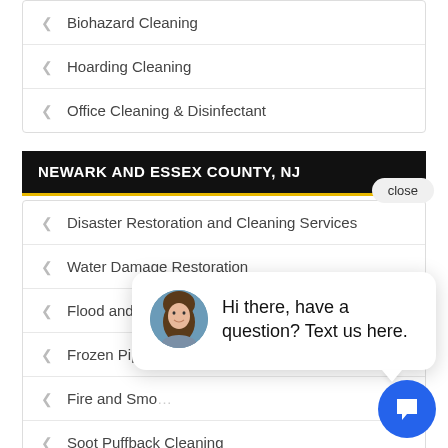Biohazard Cleaning
Hoarding Cleaning
Office Cleaning & Disinfectant
NEWARK AND ESSEX COUNTY, NJ
Disaster Restoration and Cleaning Services
Water Damage Restoration
Flood and St…
Frozen Pipes…
Fire and Smo…
Soot Puffback Cleaning
Mold Remediation
Vandalism Cleanup and Repair
[Figure (screenshot): Chat popup with avatar photo of a woman, text: Hi there, have a question? Text us here. With close button and blue chat icon button.]